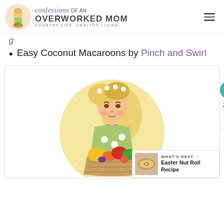[Figure (logo): Confessions of an Overworked Mom blog logo with illustrated woman and text]
Easy Coconut Macaroons by Pinch and Swirl
[Figure (illustration): Illustration of a woman in a green apron holding a basket of colorful vegetables and fruits, inside a yellow circle]